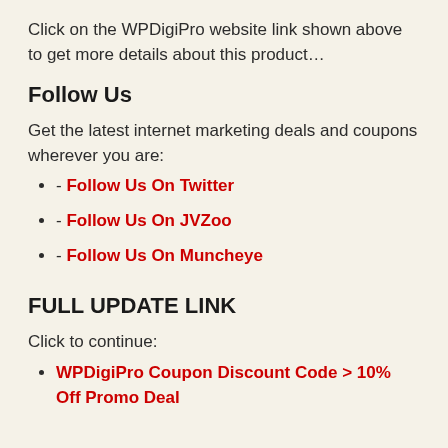Click on the WPDigiPro website link shown above to get more details about this product…
Follow Us
Get the latest internet marketing deals and coupons wherever you are:
- Follow Us On Twitter
- Follow Us On JVZoo
- Follow Us On Muncheye
FULL UPDATE LINK
Click to continue:
WPDigiPro Coupon Discount Code > 10% Off Promo Deal